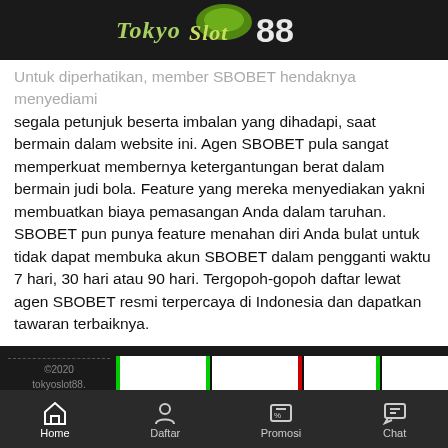[Figure (logo): TokyoSlot88 logo with stylized green text and 88 in white]
Untuk diperhatikan, member SBOBET hendaknya menyediami segala petunjuk beserta imbalan yang dihadapi, saat bermain dalam website ini. Agen SBOBET pula sangat memperkuat membernya ketergantungan berat dalam bermain judi bola. Feature yang mereka menyediakan yakni membuatkan biaya pemasangan Anda dalam taruhan. SBOBET pun punya feature menahan diri Anda bulat untuk tidak dapat membuka akun SBOBET dalam pengganti waktu 7 hari, 30 hari atau 90 hari. Tergopoh-gopoh daftar lewat agen SBOBET resmi terpercaya di Indonesia dan dapatkan tawaran terbaiknya.
[Figure (screenshot): Footer area with copyright text and slot machine reel blocks with green and red separators]
Home   Daftar   Promosi   Chat